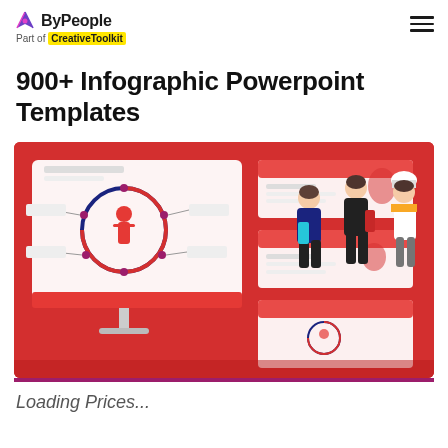ByPeople — Part of CreativeToolkit
900+ Infographic Powerpoint Templates
[Figure (illustration): Promotional banner with red background showing a computer monitor displaying an infographic PowerPoint template with a circular diagram and a figure, alongside three illustrated female characters (professional, businesswoman, chef) and sample slide thumbnails]
Loading Prices...